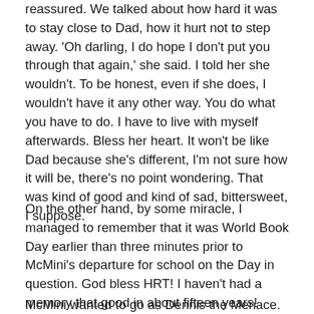reassured. We talked about how hard it was to stay close to Dad, how it hurt not to step away. 'Oh darling, I do hope I don't put you through that again,' she said. I told her she wouldn't. To be honest, even if she does, I wouldn't have it any other way. You do what you have to do. I have to live with myself afterwards. Bless her heart. It won't be like Dad because she's different, I'm not sure how it will be, there's no point wondering. That was kind of good and kind of sad, bittersweet, I suppose.
On the other hand, by some miracle, I managed to remember that it was World Book Day earlier than three minutes prior to McMini's departure for school on the Day in question. God bless HRT! I haven't had a memory that good in about fifteen years! Woot!
McMini wanted to go as Dennis the Menace. OK so, by